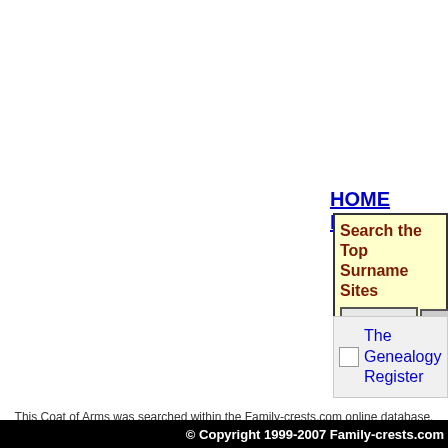HOME PAGE
Search the Top Surname Sites
[Figure (screenshot): Search input field and Go! button inside a yellow box]
[Figure (screenshot): The Genealogy Register image/link box with broken image icon]
This Coat of Arms was searched within the Family-crests.com online database. This Coat of Arms is drawn in the oldest or most recognized Coat of Arms asso
© Copyright 1999-2007 Family-crests.com